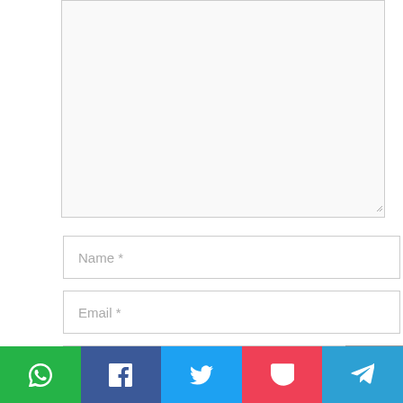[Figure (screenshot): A large empty textarea/comment input box with a resize handle at the bottom-right corner, styled with a light gray background and border.]
Name *
Email *
Website
[Figure (other): Back-to-top arrow button (gray background, white upward chevron icon) overlapping the website input field at the right.]
[Figure (infographic): Social sharing bar with five buttons: WhatsApp (green, phone/message icon), Facebook (dark blue, f icon), Twitter (light blue, bird icon), Pocket (red, P icon), Telegram (blue, paper plane icon).]